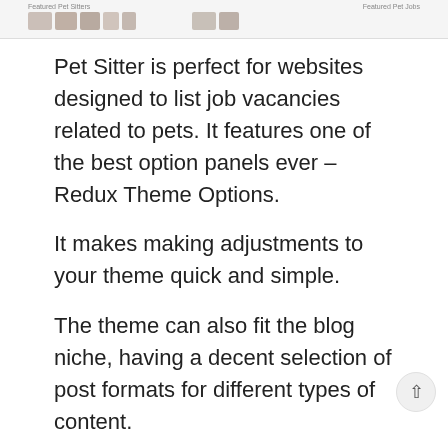[Figure (screenshot): Partial screenshot of a website showing 'Featured Pet Sitters' and 'Featured Pet Jobs' sections with profile photos]
Pet Sitter is perfect for websites designed to list job vacancies related to pets. It features one of the best option panels ever – Redux Theme Options.
It makes making adjustments to your theme quick and simple.
The theme can also fit the blog niche, having a decent selection of post formats for different types of content.
MORE INFO / DOWNLOAD
DEMO
GET HOSTING